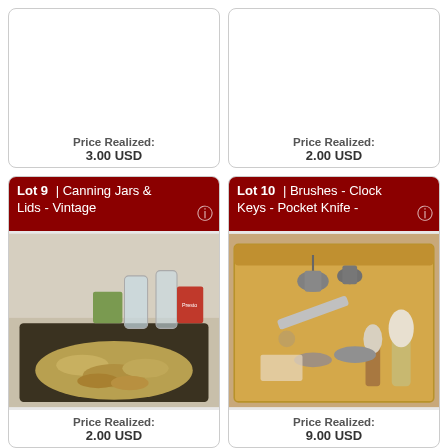Price Realized:
3.00 USD
Price Realized:
2.00 USD
Lot 9 | Canning Jars & Lids - Vintage
[Figure (photo): A tray filled with vintage canning jar lids, with glass jars and a Presto box in the background.]
Price Realized:
2.00 USD
Lot 10 | Brushes - Clock Keys - Pocket Knife -
[Figure (photo): A cardboard box containing various items including brushes, clock keys, a pocket knife, and other miscellaneous items.]
Price Realized:
9.00 USD